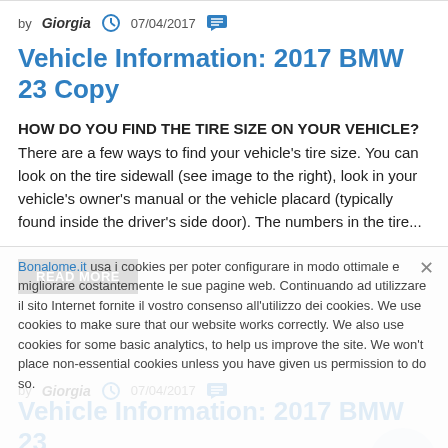by Giorgia  07/04/2017
Vehicle Information: 2017 BMW 23 Copy
HOW DO YOU FIND THE TIRE SIZE ON YOUR VEHICLE? There are a few ways to find your vehicle's tire size. You can look on the tire sidewall (see image to the right), look in your vehicle's owner's manual or the vehicle placard (typically found inside the driver's side door). The numbers in the tire...
READ MORE
Bonalome.it usa i cookies per poter configurare in modo ottimale e migliorare costantemente le sue pagine web. Continuando ad utilizzare il sito Internet fornite il vostro consenso all'utilizzo dei cookies. We use cookies to make sure that our website works correctly. We also use cookies for some basic analytics, to help us improve the site. We won't place non-essential cookies unless you have given us permission to do so.
by Giorgia  07/04/2017
Vehicle Information: 2017 BMW 23